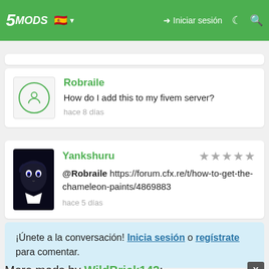5MODS — Iniciar sesión
Robraile — How do I add this to my fivem server? — hace 8 días
Yankshuru — @Robraile https://forum.cfx.re/t/how-to-get-the-chameleon-paints/4869883 — hace 5 días
¡Únete a la conversación! Inicia sesión o regístrate para comentar.
More mods by WildBrick142:
[Figure (photo): Dark blue/night sky photo preview of a mod]